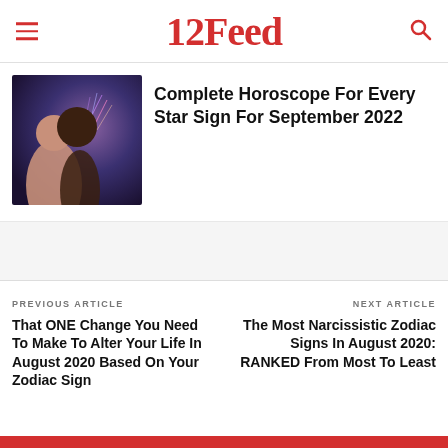12Feed
[Figure (photo): Couple embracing in front of fireworks night sky background]
Complete Horoscope For Every Star Sign For September 2022
PREVIOUS ARTICLE
That ONE Change You Need To Make To Alter Your Life In August 2020 Based On Your Zodiac Sign
NEXT ARTICLE
The Most Narcissistic Zodiac Signs In August 2020: RANKED From Most To Least